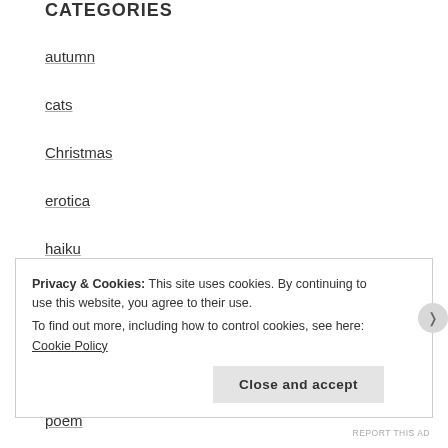CATEGORIES
autumn
cats
Christmas
erotica
haiku
limerick
meditation
nonsense
poem
Privacy & Cookies: This site uses cookies. By continuing to use this website, you agree to their use.
To find out more, including how to control cookies, see here: Cookie Policy
Close and accept
REPORT THIS AD